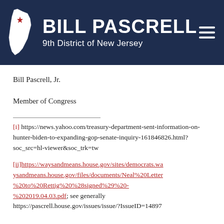BILL PASCRELL – 9th District of New Jersey
Bill Pascrell, Jr.
Member of Congress
[i] https://news.yahoo.com/treasury-department-sent-information-on-hunter-biden-to-expanding-gop-senate-inquiry-161846826.html?soc_src=hl-viewer&soc_trk=tw
[ii]https://waysandmeans.house.gov/sites/democrats.waysandmeans.house.gov/files/documents/Neal%20Letter%20to%20Rettig%20%28signed%29%20-%202019.04.03.pdf; see generally https://pascrell.house.gov/issues/issue/?IssueID=14897